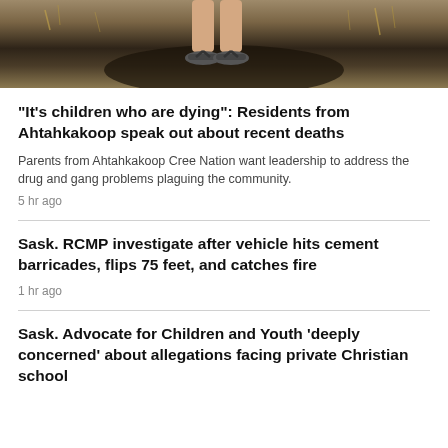[Figure (photo): Cropped photo showing a person's legs and feet wearing flip-flops, standing on dark burned ground or soil with dry grass/brush in the background.]
“It’s children who are dying”: Residents from Ahtahkakoop speak out about recent deaths
Parents from Ahtahkakoop Cree Nation want leadership to address the drug and gang problems plaguing the community.
5 hr ago
Sask. RCMP investigate after vehicle hits cement barricades, flips 75 feet, and catches fire
1 hr ago
Sask. Advocate for Children and Youth ‘deeply concerned’ about allegations facing private Christian school